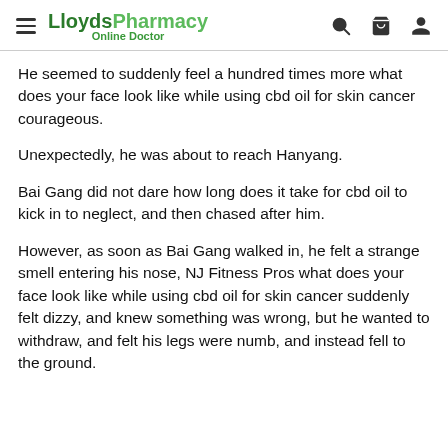LloydsPharmacy Online Doctor
He seemed to suddenly feel a hundred times more what does your face look like while using cbd oil for skin cancer courageous.
Unexpectedly, he was about to reach Hanyang.
Bai Gang did not dare how long does it take for cbd oil to kick in to neglect, and then chased after him.
However, as soon as Bai Gang walked in, he felt a strange smell entering his nose, NJ Fitness Pros what does your face look like while using cbd oil for skin cancer suddenly felt dizzy, and knew something was wrong, but he wanted to withdraw, and felt his legs were numb, and instead fell to the ground.